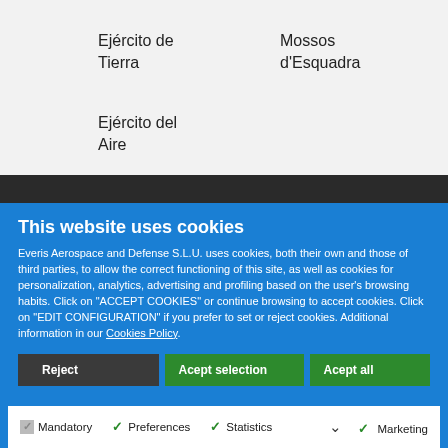Ejército de Tierra
Mossos d'Esquadra
Ejército del Aire
This website uses cookies
Everis Aerospace and Defense S.L.U. uses cookies, both their own and those of third parties, to allow the correct functioning of this site, as well as cookies for personalization, analytics, advertising and profiling based on the user's browsing habits. Click on "ACCEPT COOKIES" or continue browsing to accept cookies. Click on "EDIT CONFIGURATION" if you prefer to set or reject cookies. Additional information in our Cookies Policy.
Reject
Acept selection
Acept all
Mandatory   Preferences   Statistics   Marketing